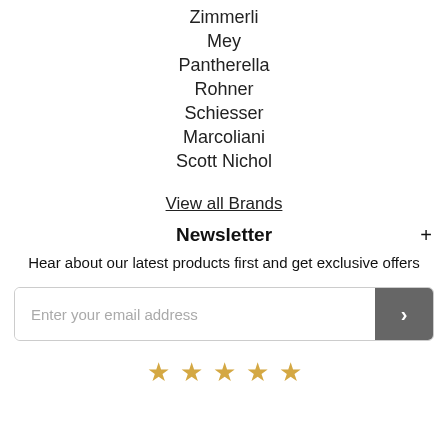Zimmerli
Mey
Pantherella
Rohner
Schiesser
Marcoliani
Scott Nichol
View all Brands
Newsletter
Hear about our latest products first and get exclusive offers
Enter your email address
[Figure (other): Five gold star rating icons]